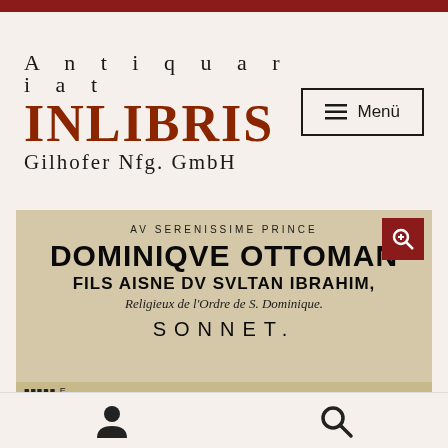[Figure (logo): Antiquariat INLIBRIS Gilhofer Nfg. GmbH logo with navigation menu button]
[Figure (photo): Photograph of an old book/document title page showing: AV SERENISSIME PRINCE / DOMINIQVE OTTOMAN / FILS AISNE DV SVLTAN IBRAHIM, / Religieux de l'Ordre de S. Dominique. / SONNET.]